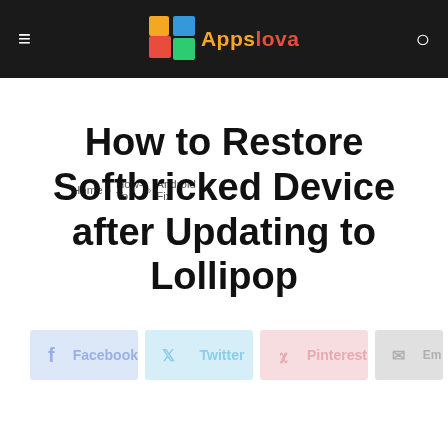AppsLova — Home › How-To › Android Fix
Home › How-To › Android Fix
How to Restore Softbricked Device after Updating to Lollipop
[Figure (other): Social share buttons: Facebook, Twitter, Pinterest, Email]